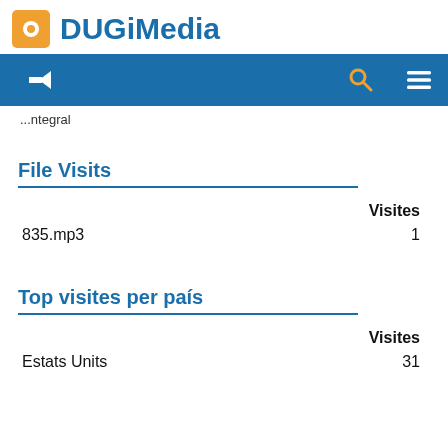DUGiMedia
...ntegral
File Visits
|  | Visites |
| --- | --- |
| 835.mp3 | 1 |
Top visites per país
|  | Visites |
| --- | --- |
| Estats Units | 31 |